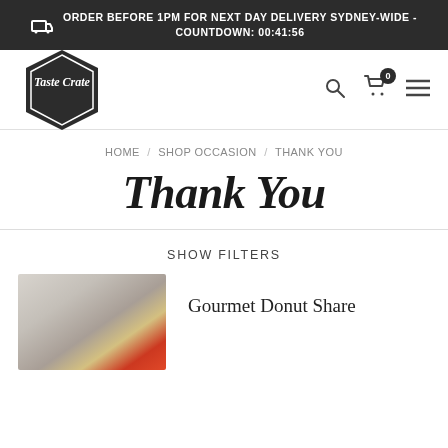ORDER BEFORE 1PM FOR NEXT DAY DELIVERY SYDNEY-WIDE - COUNTDOWN: 00:41:56
[Figure (logo): Taste Crate hexagon logo with brand name in italic script]
HOME / SHOP OCCASION / THANK YOU
Thank You
SHOW FILTERS
[Figure (photo): Product photo showing a gourmet donut share box with colorful contents]
Gourmet Donut Share